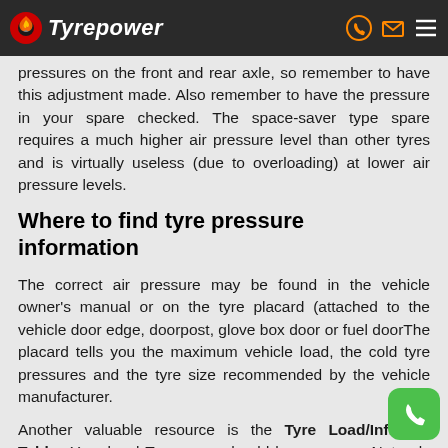Tyrepower
pressures on the front and rear axle, so remember to have this adjustment made. Also remember to have the pressure in your spare checked. The space-saver type spare requires a much higher air pressure level than other tyres and is virtually useless (due to overloading) at lower air pressure levels.
Where to find tyre pressure information
The correct air pressure may be found in the vehicle owner's manual or on the tyre placard (attached to the vehicle door edge, doorpost, glove box door or fuel doorThe placard tells you the maximum vehicle load, the cold tyre pressures and the tyre size recommended by the vehicle manufacturer.
Another valuable resource is the Tyre Load/Inflation Tables. Your local Tyrepower should have a copy. Not only will this document